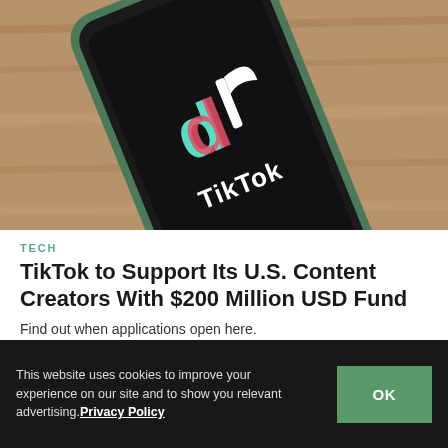[Figure (photo): A smartphone displaying the TikTok logo and wordmark on a dark screen, placed on a wooden surface with a green phone case visible]
TECH
TikTok to Support Its U.S. Content Creators With $200 Million USD Fund
Find out when applications open here.
By Pauline De Leon  Jul 23, 2020  🔥 832
This website uses cookies to improve your experience on our site and to show you relevant advertising. Privacy Policy